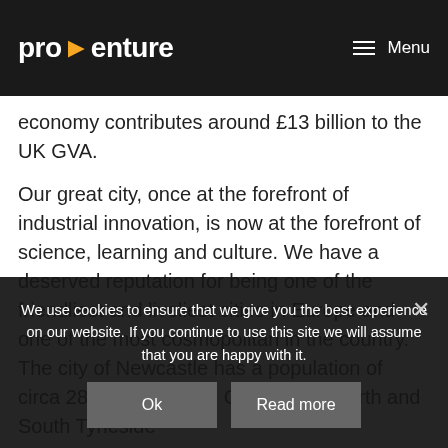pro>enture  Menu
economy contributes around £13 billion to the UK GVA.
Our great city, once at the forefront of industrial innovation, is now at the forefront of science, learning and culture. We have a deserved reputation for being one of the friendliest and liveliest cities in Europe and one of the most cosmopolitan in the country. The city of Newcastle has a population of circa 280,000 and with Gateshead, North and South Tyneside
We use cookies to ensure that we give you the best experience on our website. If you continue to use this site we will assume that you are happy with it.